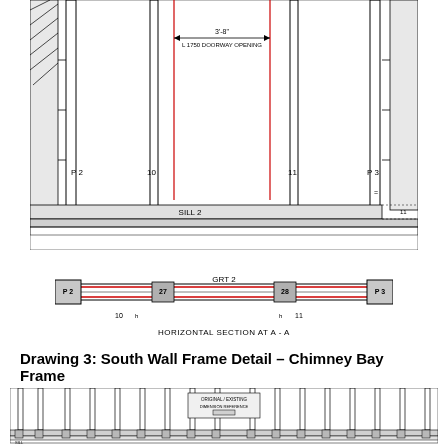[Figure (engineering-diagram): Top architectural/structural drawing showing a wall frame elevation view with vertical studs labeled P2, 10, 11, P3, a doorway opening dimension of 3'-8'' (L 1750 DOORWAY OPENING), and a horizontal sill labeled SILL 2. Red lines highlight door opening framing members.]
[Figure (engineering-diagram): Horizontal section diagram at A-A showing a horizontal cross-section of the wall with components labeled P2, P3, GRT 2, and numbered members 10, 11, 27, 28.]
HORIZONTAL SECTION AT A - A
Drawing 3: South Wall Frame Detail — Chimney Bay Frame
[Figure (engineering-diagram): Bottom architectural/structural drawing showing the full south wall frame elevation (Chimney Bay Frame) with multiple vertical studs, a central label box indicating original / existing dimensions or notes, and sill plates along the bottom.]